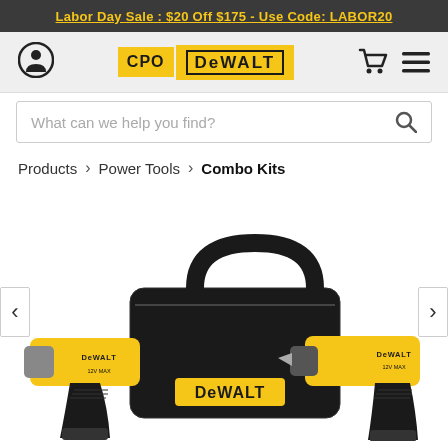Labor Day Sale : $20 Off $175 - Use Code: LABOR20
[Figure (logo): CPO DeWalt logo with yellow background]
What can we help you find?
Products > Power Tools > Combo Kits
[Figure (photo): DeWalt 12V combo kit with two drills (impact driver and drill/driver) and black canvas tool bag with DeWalt branding]